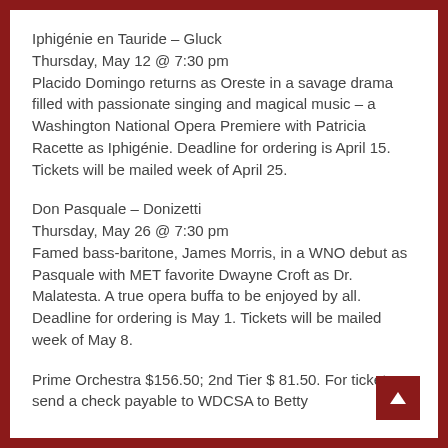Iphigénie en Tauride – Gluck
Thursday, May 12 @ 7:30 pm
Placido Domingo returns as Oreste in a savage drama filled with passionate singing and magical music – a Washington National Opera Premiere with Patricia Racette as Iphigénie. Deadline for ordering is April 15. Tickets will be mailed week of April 25.
Don Pasquale – Donizetti
Thursday, May 26 @ 7:30 pm
Famed bass-baritone, James Morris, in a WNO debut as Pasquale with MET favorite Dwayne Croft as Dr. Malatesta. A true opera buffa to be enjoyed by all. Deadline for ordering is May 1. Tickets will be mailed week of May 8.
Prime Orchestra $156.50; 2nd Tier $ 81.50. For tickets – send a check payable to WDCSA to Betty